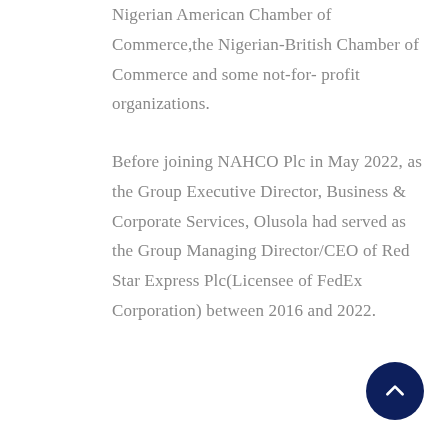Nigerian American Chamber of Commerce,the Nigerian-British Chamber of Commerce and some not-for- profit organizations.
Before joining NAHCO Plc in May 2022, as the Group Executive Director, Business & Corporate Services, Olusola had served as the Group Managing Director/CEO of Red Star Express Plc(Licensee of FedEx Corporation) between 2016 and 2022.